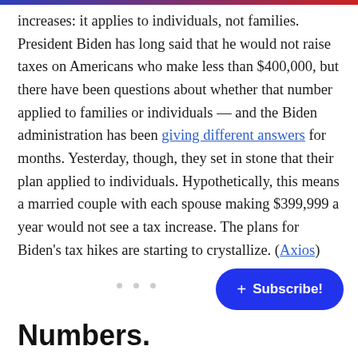increases: it applies to individuals, not families. President Biden has long said that he would not raise taxes on Americans who make less than $400,000, but there have been questions about whether that number applied to families or individuals — and the Biden administration has been giving different answers for months. Yesterday, though, they set in stone that their plan applied to individuals. Hypothetically, this means a married couple with each spouse making $399,999 a year would not see a tax increase. The plans for Biden's tax hikes are starting to crystallize. (Axios)
Numbers.